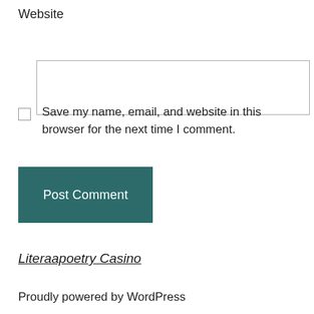Website
Save my name, email, and website in this browser for the next time I comment.
Post Comment
Literaapoetry Casino
Proudly powered by WordPress